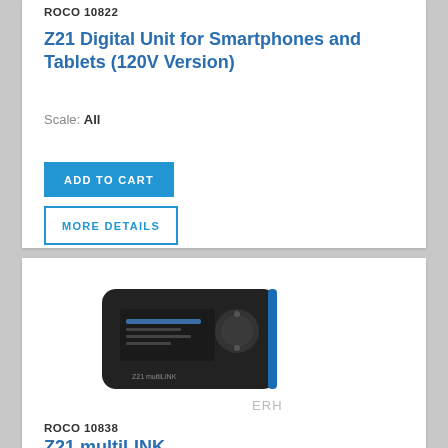ROCO 10822
Z21 Digital Unit for Smartphones and Tablets (120V Version)
Scale: All
ADD TO CART
MORE DETAILS
[Figure (photo): Black Z21 multiMAUS handheld device with dial/scroll wheel, small display screen, and Z21 multiLINK label at bottom]
ERH
ROCO 10838
Z21 multiLINK